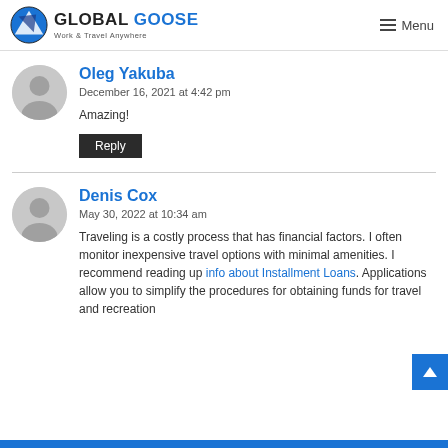GLOBAL GOOSE Work & Travel Anywhere | Menu
Oleg Yakuba
December 16, 2021 at 4:42 pm
Amazing!
Reply
Denis Cox
May 30, 2022 at 10:34 am
Traveling is a costly process that has financial factors. I often monitor inexpensive travel options with minimal amenities. I recommend reading up info about Installment Loans. Applications allow you to simplify the procedures for obtaining funds for travel and recreation